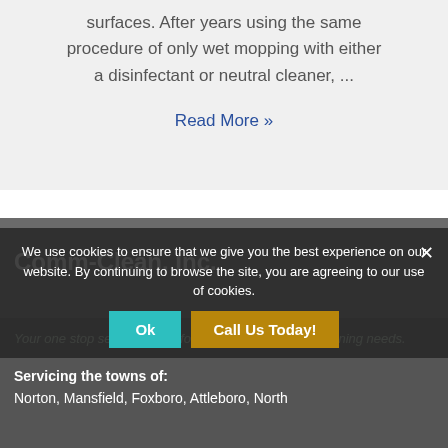surfaces. After years using the same procedure of only wet mopping with either a disinfectant or neutral cleaner, ...
Read More »
Comm-Clean, Inc.
Your one stop service parter for all your commercial cleaning needs.
Servicing the towns of:
Norton, Mansfield, Foxboro, Attleboro, North
We use cookies to ensure that we give you the best experience on our website. By continuing to browse the site, you are agreeing to our use of cookies.
Ok
Call Us Today!